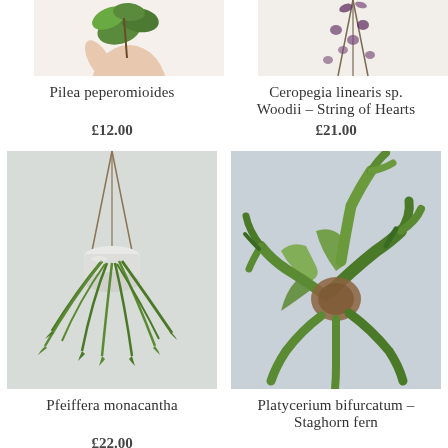[Figure (photo): Partial top of image showing a hand holding a Pilea peperomioides plant]
[Figure (photo): Partial top of image showing Ceropegia linearis sp. Woodii (String of Hearts) plant cutting]
Pilea peperomioides
£12.00
Ceropegia linearis sp. Woodii – String of Hearts
£21.00
[Figure (photo): Pfeiffera monacantha plant in a hanging white pot with long thin green leaves drooping down]
[Figure (photo): Platycerium bifurcatum (Staghorn fern) close-up showing large green fronds]
Pfeiffera monacantha
£22.00
Platycerium bifurcatum – Staghorn fern